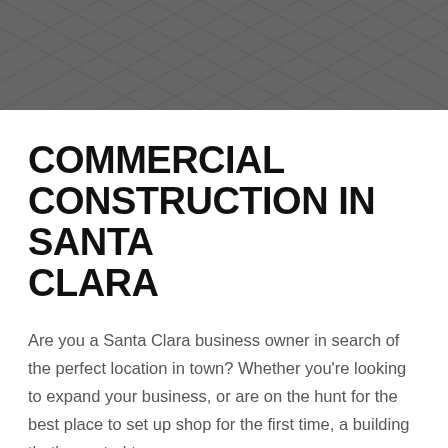[Figure (illustration): Dark gray geometric diamond/tile pattern header background image]
COMMERCIAL CONSTRUCTION IN SANTA CLARA
Are you a Santa Clara business owner in search of the perfect location in town? Whether you're looking to expand your business, or are on the hunt for the best place to set up shop for the first time, a building that's created to your